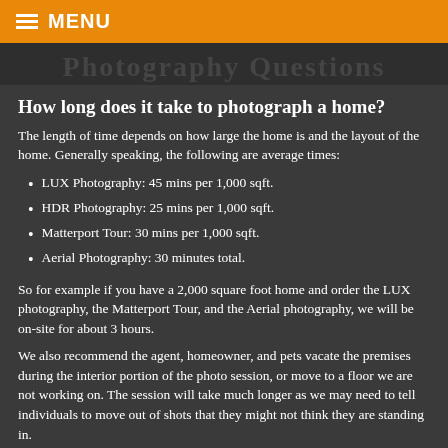≡ MENU
How long does it take to photograph a home?
The length of time depends on how large the home is and the layout of the home. Generally speaking, the following are average times:
LUX Photography: 45 mins per 1,000 sqft.
HDR Photography: 25 mins per 1,000 sqft.
Matterport Tour: 30 mins per 1,000 sqft.
Aerial Photography: 30 minutes total.
So for example if you have a 2,000 square foot home and order the LUX photography, the Matterport Tour, and the Aerial photography, we will be on-site for about 3 hours.
We also recommend the agent, homeowner, and pets vacate the premises during the interior portion of the photo session, or move to a floor we are not working on. The session will take much longer as we may need to tell individuals to move out of shots that they might not think they are standing in.